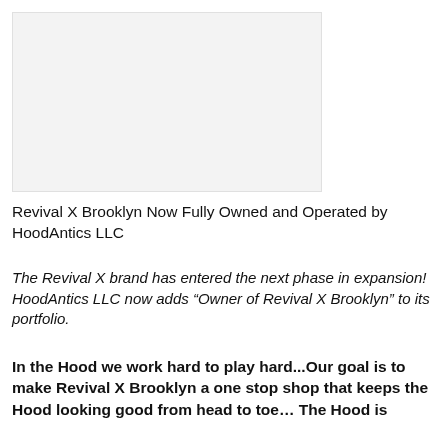[Figure (photo): Light gray placeholder image region in the upper left of the page]
Revival X Brooklyn Now Fully Owned and Operated by HoodAntics LLC
The Revival X brand has entered the next phase in expansion! HoodAntics LLC now adds “Owner of Revival X Brooklyn” to its portfolio.
In the Hood we work hard to play hard...Our goal is to make Revival X Brooklyn a one stop shop that keeps the Hood looking good from head to toe… The Hood is